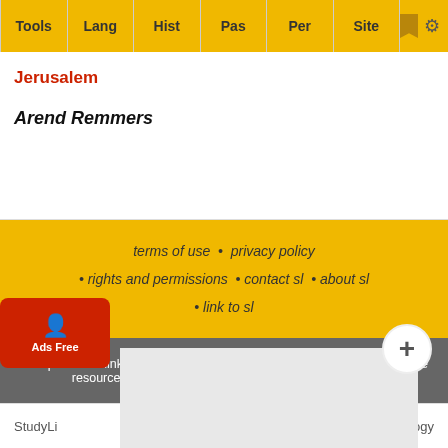Tools | Lang | Hist | Pas | Per | Site
Jerusalem
Arend Remmers
terms of use • privacy policy • rights and permissions • contact sl • about sl • link to sl
To report dead links, typos, or html errors or suggestions for making these resources more useful use the convenient contact form
StudyL... ...hnology